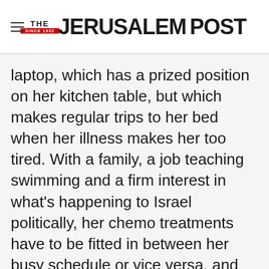THE JERUSALEM POST
laptop, which has a prized position on her kitchen table, but which makes regular trips to her bed when her illness makes her too tired. With a family, a job teaching swimming and a firm interest in what's happening to Israel politically, her chemo treatments have to be fitted in between her busy schedule or vice versa, and that very balancing act is what makes the blog so fascinating. "I'm trying to find the balance
Advertisement